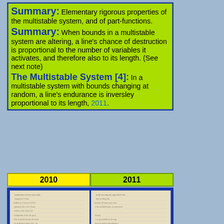Summary: Elementary rigorous properties of the multistable system, and of part-functions. Summary: When bounds in a multistable system are altering, a line's chance of destruction is proportional to the number of variables it activates, and therefore also to its length. (See next note) The Multistable System [4]: In a multistable system with bounds changing at random, a line's endurance is inversley proportional to its length, 2011.
| 2010 | 2011 |
| --- | --- |
[Figure (photo): Two pages of handwritten notes side by side, showing mathematical/scientific writing.]
| 2012 | 2013 |
| --- | --- |